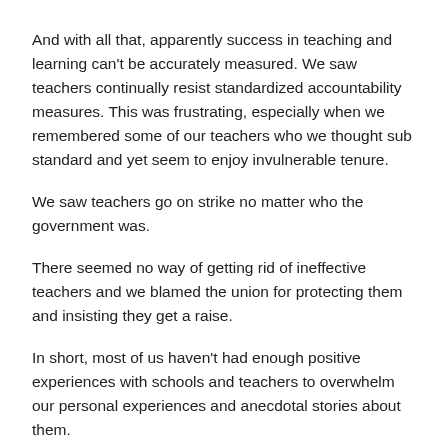And with all that, apparently success in teaching and learning can't be accurately measured. We saw teachers continually resist standardized accountability measures. This was frustrating, especially when we remembered some of our teachers who we thought sub standard and yet seem to enjoy invulnerable tenure.
We saw teachers go on strike no matter who the government was.
There seemed no way of getting rid of ineffective teachers and we blamed the union for protecting them and insisting they get a raise.
In short, most of us haven't had enough positive experiences with schools and teachers to overwhelm our personal experiences and anecdotal stories about them.